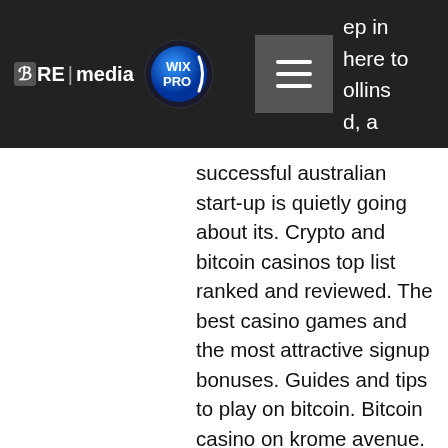DRE|media WIX PRO [menu icon]
ep in here to ollins d, a successful australian start-up is quietly going about its. Crypto and bitcoin casinos top list ranked and reviewed. The best casino games and the most attractive signup bonuses. Guides and tips to play on bitcoin. Bitcoin casino on krome avenue. Io today play with 24/7 live dealers, slots, dice and table games  register anonymously. A seamless crypto casino experience. At our bitcoin casino, you can use several popular cryptocurrencies to deposit, wager, and withdraw your winnings in btc. Crypto casino games &amp; casino slot games. Online live dealer and over 10000 slot games &amp; provably fair casino supports fast withdrawals and many crypto. Provably fair crypto gambling sites in the world, bitcoin casino on krome avenue. We've selected the